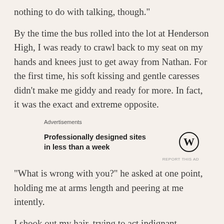nothing to do with talking, though.”
By the time the bus rolled into the lot at Henderson High, I was ready to crawl back to my seat on my hands and knees just to get away from Nathan. For the first time, his soft kissing and gentle caresses didn’t make me giddy and ready for more. In fact, it was the exact and extreme opposite.
[Figure (other): WordPress advertisement: Professionally designed sites in less than a week]
“What is wrong with you?” he asked at one point, holding me at arms length and peering at me intently.
I shook out my hair, trying to act indignant. “What’s